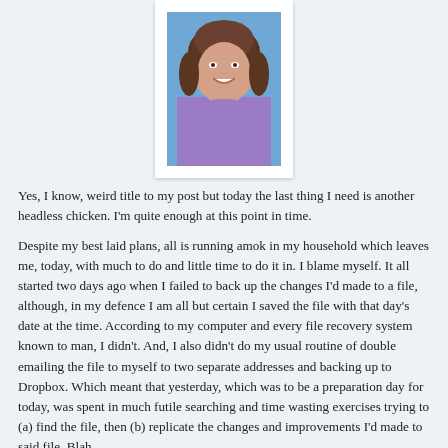[Figure (photo): Portrait photo of a woman with brown hair wearing a purple top, smiling, displayed in a white-framed box against a light blue background]
Yes, I know, weird title to my post but today the last thing I need is another headless chicken. I'm quite enough at this point in time.
Despite my best laid plans, all is running amok in my household which leaves me, today, with much to do and little time to do it in. I blame myself. It all started two days ago when I failed to back up the changes I'd made to a file, although, in my defence I am all but certain I saved the file with that day's date at the time. According to my computer and every file recovery system known to man, I didn't. And, I also didn't do my usual routine of double emailing the file to myself to two separate addresses and backing up to Dropbox. Which meant that yesterday, which was to be a preparation day for today, was spent in much futile searching and time wasting exercises trying to (a) find the file, then (b) replicate the changes and improvements I'd made to said file. Blah.
Why is today important? Well, it's my oldest daughter's birthday